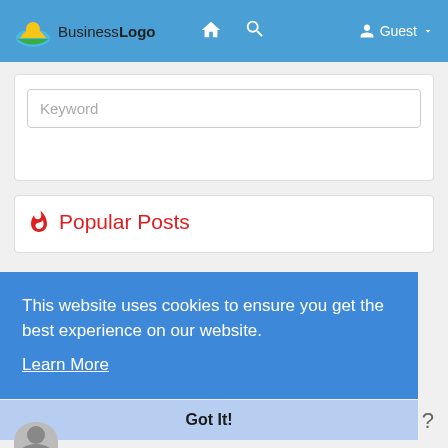BusinessLogo — navigation bar with home, search icons and Guest user
[Figure (screenshot): Search keyword input field in a white card]
🔥 Popular Posts
This website uses cookies to ensure you get the best experience on our website. Learn More
Got It!